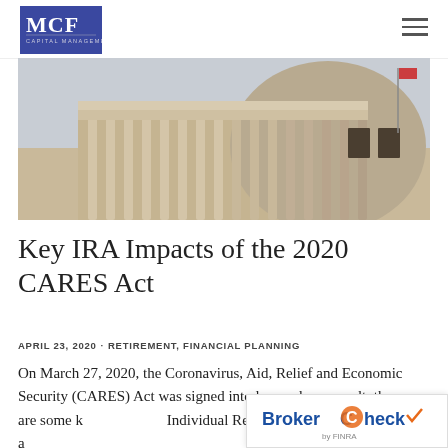MCF Capital Management
[Figure (photo): Exterior photo of a neoclassical government building with large columns and a domed rotunda, grey sky background]
Key IRA Impacts of the 2020 CARES Act
APRIL 23, 2020 · RETIREMENT, FINANCIAL PLANNING
On March 27, 2020, the Coronavirus, Aid, Relief and Economic Security (CARES) Act was signed into law and as a result, there are some k… Individual Retirement Accounts (I… a
[Figure (logo): BrokerCheck by FINRA logo badge]